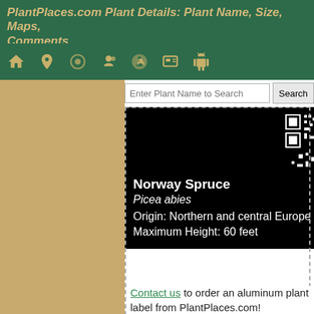PlantPlaces.com Plant Details: Plant Name, Size, Maps, Comments
[Figure (screenshot): Navigation bar with green background and icon buttons (home, location, search, person with pin, flower, photo, Android)]
[Figure (screenshot): Search bar with input field 'Enter Plant Name to Search' and Search button]
[Figure (screenshot): Black plant label box showing QR code, Norway Spruce, Picea abies, Origin: Northern and central Europe, Maximum Height: 60 feet]
Contact us to order an aluminum plant label from PlantPlaces.com!
Category: EvergreenTree
Family: Pinaceae
Genus: Picea
species: abies